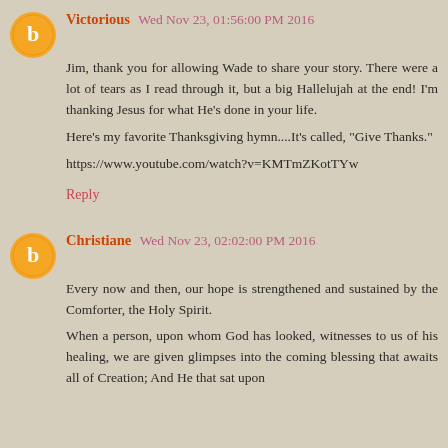Victorious  Wed Nov 23, 01:56:00 PM 2016
Jim, thank you for allowing Wade to share your story. There were a lot of tears as I read through it, but a big Hallelujah at the end! I'm thanking Jesus for what He's done in your life.
Here's my favorite Thanksgiving hymn....It's called, "Give Thanks."
https://www.youtube.com/watch?v=KMTmZKotTYw
Reply
Christiane  Wed Nov 23, 02:02:00 PM 2016
Every now and then, our hope is strengthened and sustained by the Comforter, the Holy Spirit.
When a person, upon whom God has looked, witnesses to us of his healing, we are given glimpses into the coming blessing that awaits all of Creation; And He that sat upon